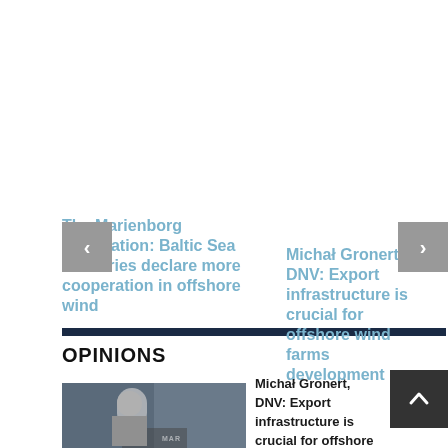The Marienborg Declaration: Baltic Sea Countries declare more cooperation in offshore wind
Michał Gronert, DNV: Export infrastructure is crucial for offshore wind farms development
OPINIONS
Michał Gronert, DNV: Export infrastructure is crucial for offshore wind
[Figure (photo): Photo of a person in a suit, standing in front of a backdrop with 'MAR' text visible]